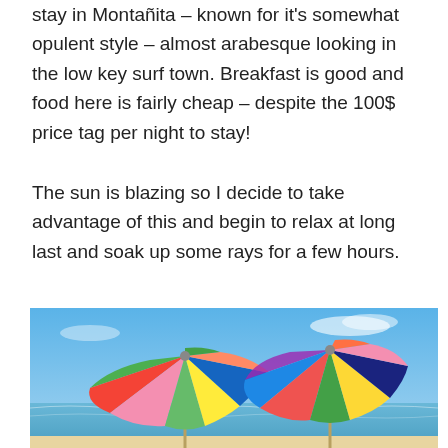stay in Montañita – known for it's somewhat opulent style – almost arabesque looking in the low key surf town. Breakfast is good and food here is fairly cheap – despite the 100$ price tag per night to stay!
The sun is blazing so I decide to take advantage of this and begin to relax at long last and soak up some rays for a few hours.
[Figure (photo): Two colorful beach umbrellas with multicolored panels (green, red, blue, orange, yellow, pink, purple) against a bright blue sky, with an ocean horizon visible in the background.]